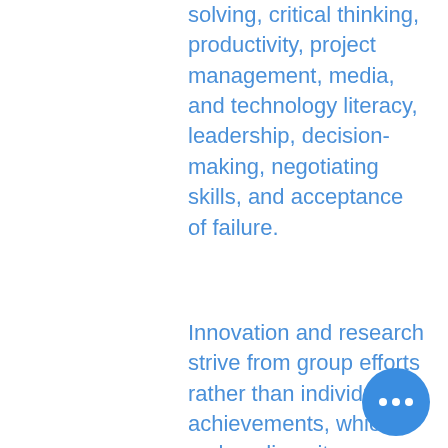solving, critical thinking, productivity, project management, media, and technology literacy, leadership, decision-making, negotiating skills, and acceptance of failure.
Innovation and research strive from group efforts rather than individual achievements, which makes diversity a critical ingredient to achieve excellence in all STEM-related areas. According to the National Center for Women & Information Technology, between 1980 and 2010, mixed-sex teams file over 40% more patents compared to all-male teams. Not providing a diverse and inclusive environment will only result in a of talent, opportunity, and progress.